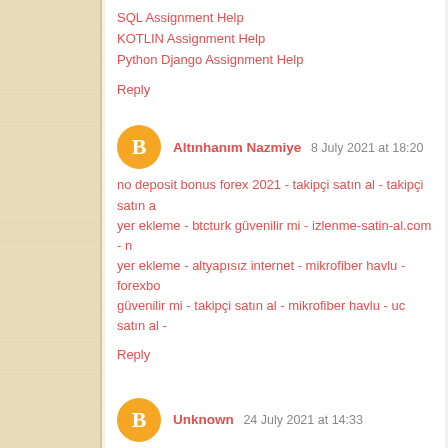SQL Assignment Help
KOTLIN Assignment Help
Python Django Assignment Help
Reply
Altınhanım Nazmiye  8 July 2021 at 18:20
no deposit bonus forex 2021 - takipçi satın al - takipçi satın a yer ekleme - btcturk güvenilir mi - izlenme-satin-al.com - n yer ekleme - altyapısız internet - mikrofiber havlu - forexbo güvenilir mi - takipçi satın al - mikrofiber havlu - uc satın al -
Reply
Unknown  24 July 2021 at 14:33
takipçi satın al
takipçi satın al
takipçi satın al
takipçi satın al
takipçi satın al
takipçi satın al
takipçi satın al
takipçi satın al
takipçi satın al